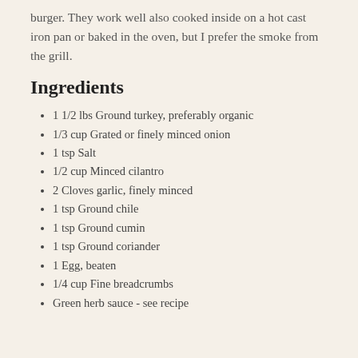burger. They work well also cooked inside on a hot cast iron pan or baked in the oven, but I prefer the smoke from the grill.
Ingredients
1 1/2 lbs Ground turkey, preferably organic
1/3 cup Grated or finely minced onion
1 tsp Salt
1/2 cup Minced cilantro
2 Cloves garlic, finely minced
1 tsp Ground chile
1 tsp Ground cumin
1 tsp Ground coriander
1 Egg, beaten
1/4 cup Fine breadcrumbs
Green herb sauce - see recipe